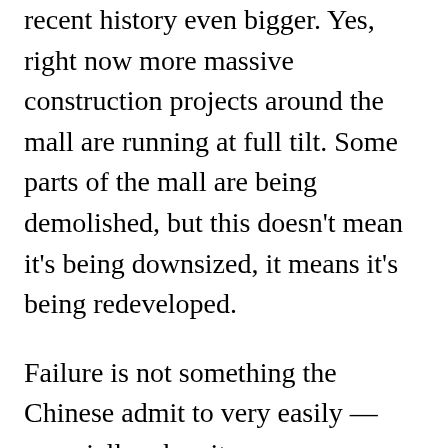recent history even bigger. Yes, right now more massive construction projects around the mall are running at full tilt. Some parts of the mall are being demolished, but this doesn't mean it's being downsized, it means it's being redeveloped.
Failure is not something the Chinese admit to very easily — especially when it means sacrificing a lot of face on the international stage. If this was a smaller project it probably would have fallen into bankruptcy a long time ago, been demolished and forgotten. But because this mall is so big, so well publicized, and under so much international scrutiny it is not allowed to fail. An